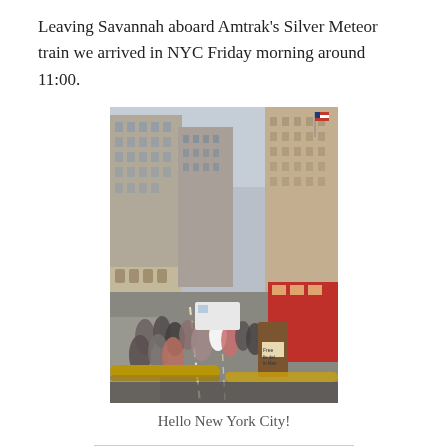Leaving Savannah aboard Amtrak's Silver Meteor train we arrived in NYC Friday morning around 11:00.
[Figure (photo): Street-level photo of a busy New York City avenue with tall buildings on both sides, crowds of pedestrians, an American flag visible on a building, and a gold railing in the foreground.]
Hello New York City!
We had all afternoon to relax before we attended the welcome